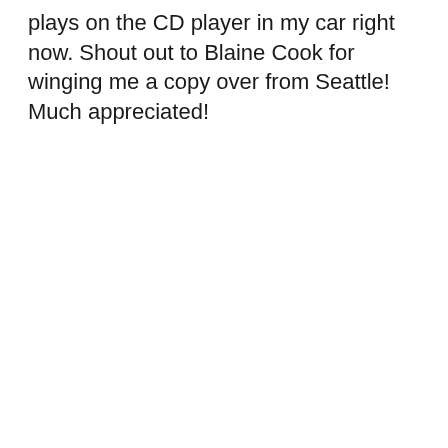plays on the CD player in my car right now. Shout out to Blaine Cook for winging me a copy over from Seattle! Much appreciated!